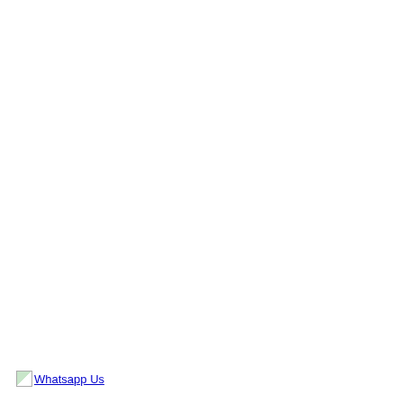[Figure (other): A broken image icon placeholder followed by the text link 'Whatsapp Us' shown as a hyperlink in blue underlined text at the bottom-left of an otherwise blank white page.]